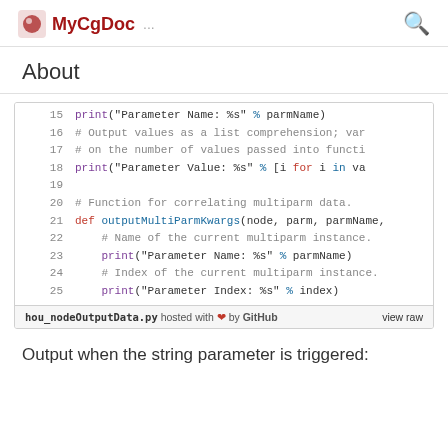MyCgDoc ...
About
[Figure (screenshot): Code block showing Python lines 15-25 with syntax highlighting, including print statements, comments, and a def outputMultiParmKwargs function definition. Footer shows 'hou_nodeOutputData.py hosted with ❤ by GitHub  view raw']
Output when the string parameter is triggered: